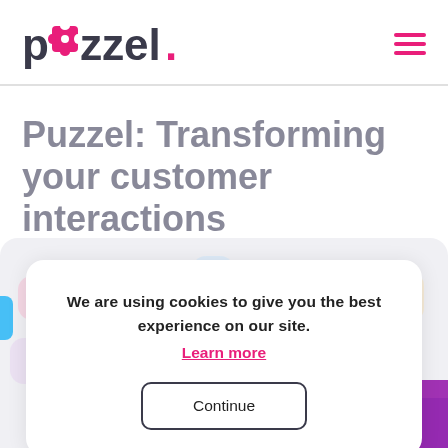[Figure (logo): Puzzel logo with pink puzzle piece replacing letter u, and pink dot after the word]
[Figure (other): Hamburger menu icon with three pink horizontal lines]
Puzzel: Transforming your customer interactions
We are using cookies to give you the best experience on our site.
Learn more
Continue